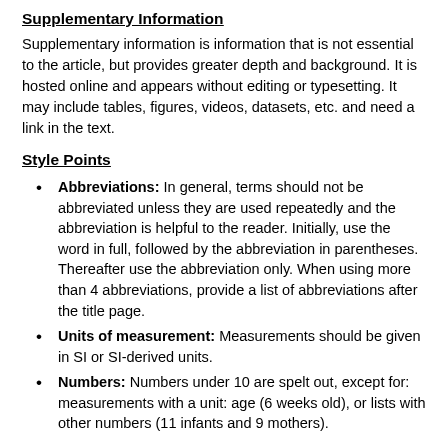Supplementary Information
Supplementary information is information that is not essential to the article, but provides greater depth and background. It is hosted online and appears without editing or typesetting. It may include tables, figures, videos, datasets, etc. and need a link in the text.
Style Points
Abbreviations: In general, terms should not be abbreviated unless they are used repeatedly and the abbreviation is helpful to the reader. Initially, use the word in full, followed by the abbreviation in parentheses. Thereafter use the abbreviation only. When using more than 4 abbreviations, provide a list of abbreviations after the title page.
Units of measurement: Measurements should be given in SI or SI-derived units.
Numbers: Numbers under 10 are spelt out, except for: measurements with a unit: age (6 weeks old), or lists with other numbers (11 infants and 9 mothers).